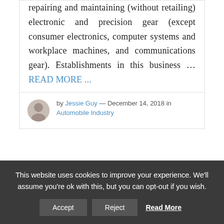repairing and maintaining (without retailing) electronic and precision gear (except consumer electronics, computer systems and workplace machines, and communications gear). Establishments in this business … READ MORE ...
by Jessie Guy — December 14, 2018 in Automobile Industry
This website uses cookies to improve your experience. We'll assume you're ok with this, but you can opt-out if you wish.